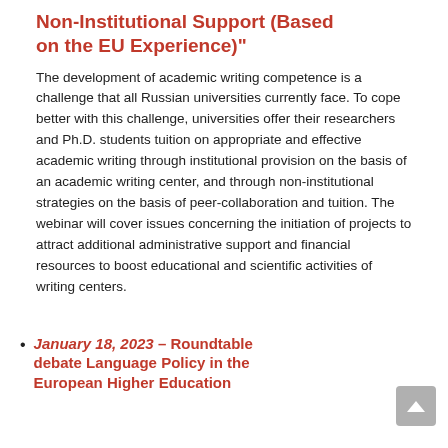Non-Institutional Support (Based on the EU Experience)"
The development of academic writing competence is a challenge that all Russian universities currently face. To cope better with this challenge, universities offer their researchers and Ph.D. students tuition on appropriate and effective academic writing through institutional provision on the basis of an academic writing center, and through non-institutional strategies on the basis of peer-collaboration and tuition. The webinar will cover issues concerning the initiation of projects to attract additional administrative support and financial resources to boost educational and scientific activities of writing centers.
January 18, 2023 – Roundtable debate Language Policy in the European Higher Education